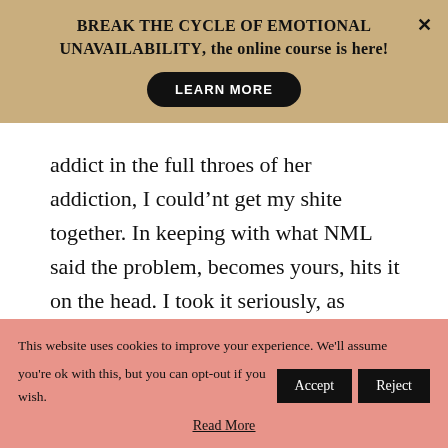BREAK THE CYCLE OF EMOTIONAL UNAVAILABILITY, the online course is here!
[Figure (other): Black pill-shaped button with white uppercase text: LEARN MORE]
addict in the full throes of her addiction, I could’nt get my shite together. In keeping with what NML said the problem, becomes yours, hits it on the head. I took it seriously, as though I had just been diagnosed
This website uses cookies to improve your experience. We'll assume you're ok with this, but you can opt-out if you wish.
Read More